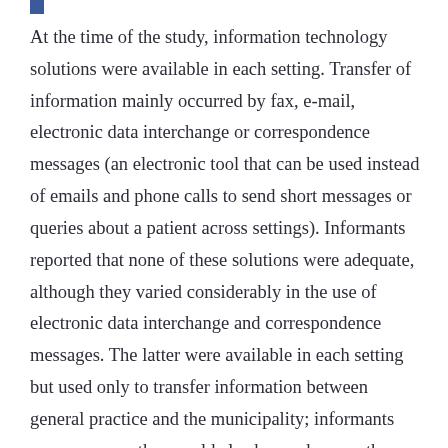At the time of the study, information technology solutions were available in each setting. Transfer of information mainly occurred by fax, e-mail, electronic data interchange or correspondence messages (an electronic tool that can be used instead of emails and phone calls to send short messages or queries about a patient across settings). Informants reported that none of these solutions were adequate, although they varied considerably in the use of electronic data interchange and correspondence messages. The latter were available in each setting but used only to transfer information between general practice and the municipality; informants were unaware they could also be used across the primary/secondary care interface.